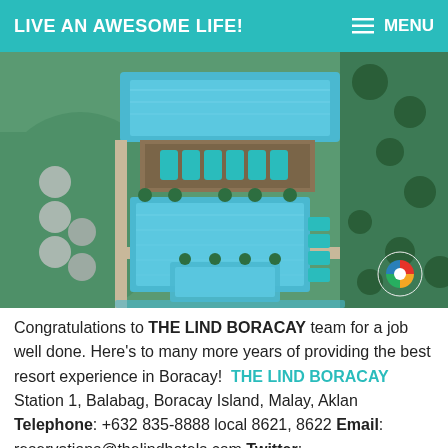LIVE AN AWESOME LIFE!   ☰ MENU
[Figure (photo): Aerial drone view of The Lind Boracay resort showing blue swimming pools, sunbeds with cyan umbrellas/covers, walkways, green lawns and palm trees]
Congratulations to THE LIND BORACAY team for a job well done. Here's to many more years of providing the best resort experience in Boracay!   THE LIND BORACAY Station 1, Balabag, Boracay Island, Malay, Aklan Telephone: +632 835-8888 local 8621, 8622 Email: reservations@thelindhotels.com Twitter: @thelindhotels Facebook: